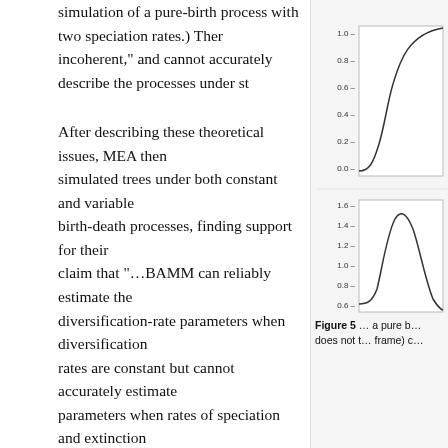simulation of a pure-birth process with two speciation rates.) Then incoherent," and cannot accurately describe the processes under st…
After describing these theoretical issues, MEA then simulated trees under both constant and variable birth-death processes, finding support for their claim that "…BAMM can reliably estimate the diversification-rate parameters when diversification rates are constant but cannot accurately estimate parameters when rates of speciation and extinction vary." For users of BAMM, this is a damning prognosis. But is it substantiated?
Rabosky et al.'s preliminary response
While Rabosky et al. (REA) have yet to pen a formal response to Moore et al.'s claims in the published literature, the team has responded to aspects of the 2016 paper in the program's documentation. Rather than offer a point by point …and att. REA la…
[Figure (continuous-plot): Two probability distribution charts stacked vertically. Top chart shows probability (y-axis 0.0 to 1.0) vs an unlabeled x-axis. Bottom chart shows probability density (y-axis 0.6 to 1.6) vs an unlabeled x-axis. Both appear to be from a simulation of a pure-birth process.]
Figure 5 … a pure b… does not t… frame) c…